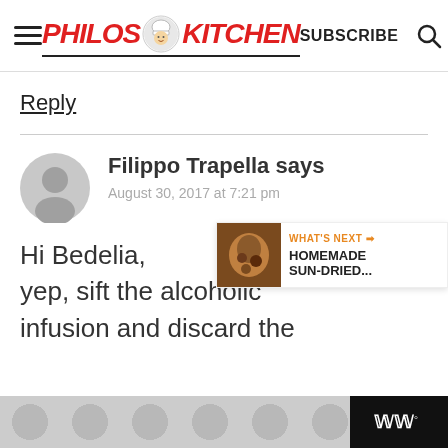[Figure (logo): Philos Kitchen logo with hamburger menu, logo text, SUBSCRIBE text, and search icon in header]
Reply
Filippo Trapella says
August 30, 2017 at 7:21 pm
Hi Bedelia,
yep, sift the alcoholic infusion and discard the